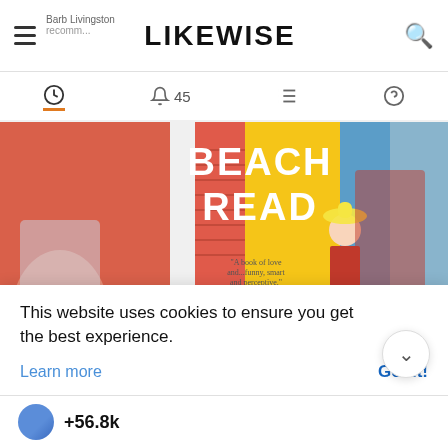LIKEWISE
[Figure (screenshot): Navigation tab bar with activity, notifications (45), list, and Q&A icons. Active tab has orange underline.]
[Figure (photo): Book cover of 'Beach Read' by Emily Henry on yellow background with illustrated beach scene, surrounded by blurred beach-themed background.]
This website uses cookies to ensure you get the best experience.
Learn more
Got it!
+56.8k